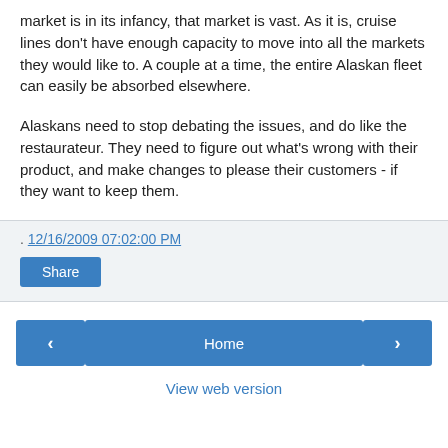market is in its infancy, that market is vast. As it is, cruise lines don't have enough capacity to move into all the markets they would like to. A couple at a time, the entire Alaskan fleet can easily be absorbed elsewhere.
Alaskans need to stop debating the issues, and do like the restaurateur. They need to figure out what's wrong with their product, and make changes to please their customers - if they want to keep them.
. 12/16/2009 07:02:00 PM
Share
< Home >
View web version